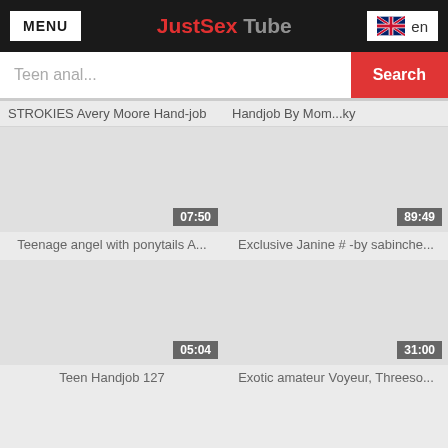MENU | JustSex Tube | en
Teen anal...
STROKIES Avery Moore Hand-job
Handjob By Mom...ky
[Figure (screenshot): Video thumbnail placeholder, grey, with duration badge 07:50]
[Figure (screenshot): Video thumbnail placeholder, grey, with duration badge 89:49]
Teenage angel with ponytails A...
Exclusive Janine # -by sabinche...
[Figure (screenshot): Video thumbnail placeholder, grey, with duration badge 05:04]
[Figure (screenshot): Video thumbnail placeholder, grey, with duration badge 31:00]
Teen Handjob 127
Exotic amateur Voyeur, Threeso...